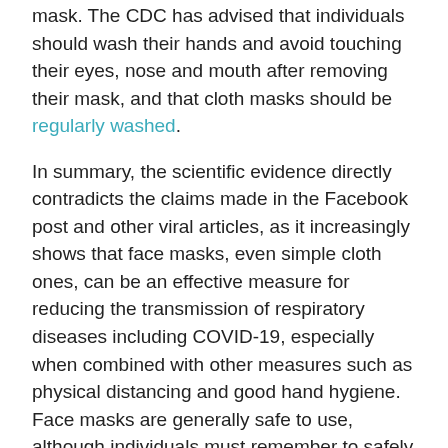mask. The CDC has advised that individuals should wash their hands and avoid touching their eyes, nose and mouth after removing their mask, and that cloth masks should be regularly washed.
In summary, the scientific evidence directly contradicts the claims made in the Facebook post and other viral articles, as it increasingly shows that face masks, even simple cloth ones, can be an effective measure for reducing the transmission of respiratory diseases including COVID-19, especially when combined with other measures such as physical distancing and good hand hygiene. Face masks are generally safe to use, although individuals must remember to safely handle their masks to minimize infection risk from contaminated surfaces.
NOTES
The Facebook account "Caitlyn RN" is very likely run by or associated with Caitlyn Neff, who was a member of the now-dissolved Florida Freedom Alliance (FFA), an